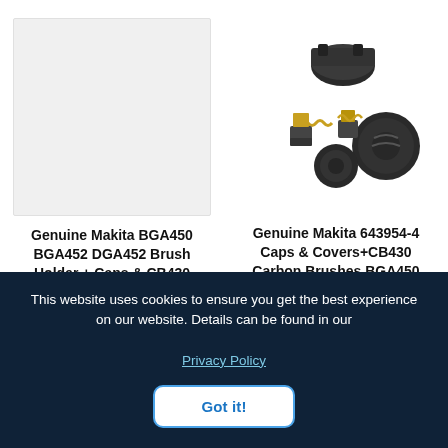[Figure (photo): Gray/white blank placeholder image box for Makita BGA450 BGA452 DGA452 Brush Holder product]
[Figure (photo): Photo of Genuine Makita 643954-4 carbon brush caps/covers and CB430 carbon brushes components on white background]
Genuine Makita BGA450 BGA452 DGA452 Brush Holder + Caps & CB430 Carbon Brushes
Genuine Makita 643954-4 Caps & Covers+CB430 Carbon Brushes BGA450 BGA452 DGA452
SKU: CB430 Brush Kit
SKU: 419518-4 + CB430 + 643954-4
This website uses cookies to ensure you get the best experience on our website. Details can be found in our
Privacy Policy
Got it!